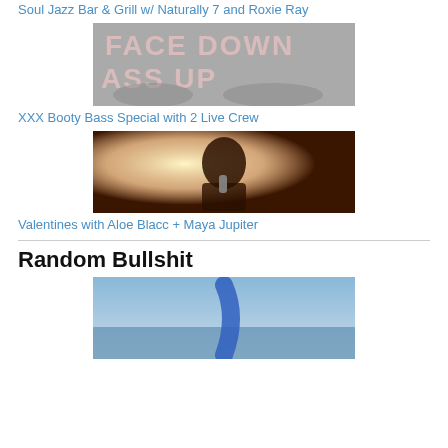Soul Jazz Bar & Grill w/ Naturally 7 and Roxie Ray
[Figure (photo): Black and white photo with text overlay reading FACE DOWN ASS UP]
XXX Booty Bass Special with 2 Live Crew
[Figure (photo): Color photo of a male singer performing with a microphone under stage lights]
Valentines with Aloe Blacc + Maya Jupiter
[Figure (photo): Blue-tinted photo of what appears to be a curved blue object near water]
Random Bullshit